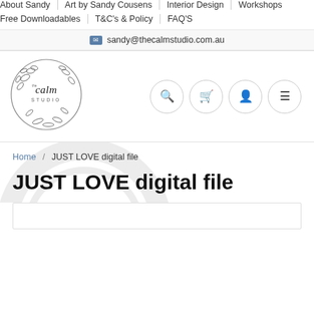About Sandy | Art by Sandy Cousens | Interior Design | Workshops | Free Downloadables | T&C's & Policy | FAQ'S
sandy@thecalmstudio.com.au
[Figure (logo): The Calm Studio circular floral logo with cursive 'calm STUDIO' text]
Breadcrumb: Home / JUST LOVE digital file
JUST LOVE digital file